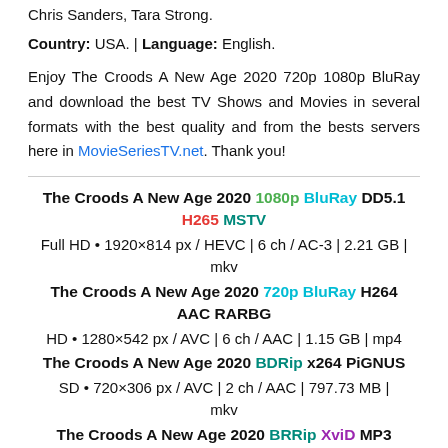Chris Sanders, Tara Strong.
Country: USA. | Language: English.
Enjoy The Croods A New Age 2020 720p 1080p BluRay and download the best TV Shows and Movies in several formats with the best quality and from the bests servers here in MovieSeriesTV.net. Thank you!
The Croods A New Age 2020 1080p BluRay DD5.1 H265 MSTV
Full HD • 1920×814 px / HEVC | 6 ch / AC-3 | 2.21 GB | mkv
The Croods A New Age 2020 720p BluRay H264 AAC RARBG
HD • 1280×542 px / AVC | 6 ch / AAC | 1.15 GB | mp4
The Croods A New Age 2020 BDRip x264 PiGNUS
SD • 720×306 px / AVC | 2 ch / AAC | 797.73 MB | mkv
The Croods A New Age 2020 BRRip XviD MP3